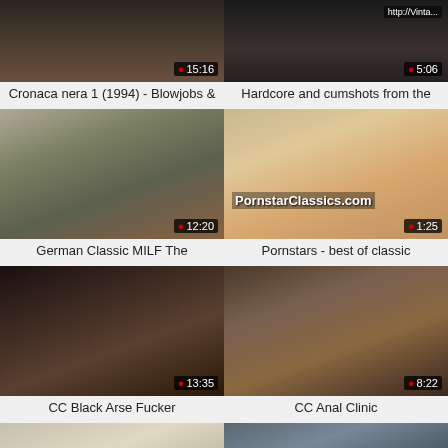[Figure (screenshot): Video thumbnail - dark tones, duration 15:16]
[Figure (screenshot): Video thumbnail with http://Vinta... watermark, duration 5:06]
Cronaca nera 1 (1994) - Blowjobs &
Hardcore and cumshots from the
[Figure (screenshot): Video thumbnail - German Classic MILF scene, duration 12:20]
[Figure (screenshot): Video thumbnail with PornstarClassics.com watermark, duration 1:25]
German Classic MILF The
Pornstars - best of classic
[Figure (screenshot): Video thumbnail - CC Black Arse Fucker, duration 13:35]
[Figure (screenshot): Video thumbnail - CC Anal Clinic, duration 8:22]
CC Black Arse Fucker
CC Anal Clinic
[Figure (screenshot): Video thumbnail bottom left - partial view]
[Figure (screenshot): Video thumbnail bottom right - partial view]